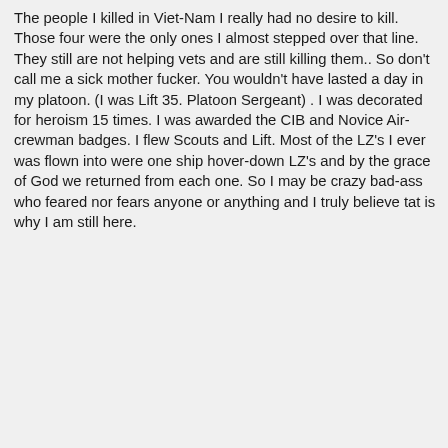The people I killed in Viet-Nam I really had no desire to kill. Those four were the only ones I almost stepped over that line. They still are not helping vets and are still killing them.. So don't call me a sick mother fucker. You wouldn't have lasted a day in my platoon. (I was Lift 35. Platoon Sergeant) . I was decorated for heroism 15 times. I was awarded the CIB and Novice Air-crewman badges. I flew Scouts and Lift. Most of the LZ's I ever was flown into were one ship hover-down LZ's and by the grace of God we returned from each one. So I may be crazy bad-ass who feared nor fears anyone or anything and I truly believe tat is why I am still here.